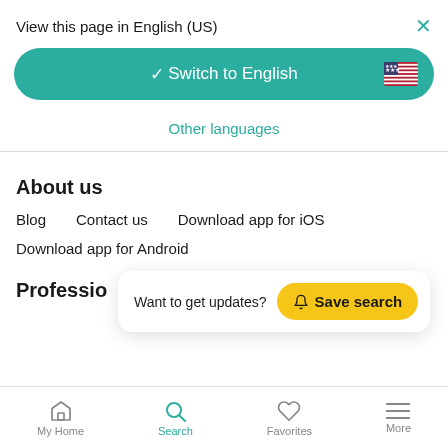View this page in English (US)
Switch to English
Other languages
About us
Blog
Contact us
Download app for iOS
Download app for Android
Professio
Want to get updates?
Save search
My Home   Search   Favorites   More